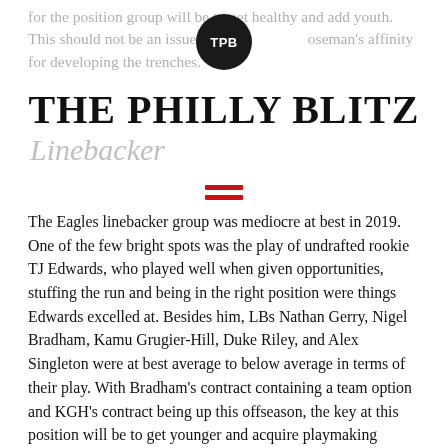for the position group will be to get healthy and add youth. This should not be an issue given Howie Roseman's affinity for developing the trenches.
[Figure (logo): TPB circular logo with dark background and white text]
THE PHILLY BLITZ
Linebacker
The Eagles linebacker group was mediocre at best in 2019. One of the few bright spots was the play of undrafted rookie TJ Edwards, who played well when given opportunities, stuffing the run and being in the right position were things Edwards excelled at. Besides him, LBs Nathan Gerry, Nigel Bradham, Kamu Grugier-Hill, Duke Riley, and Alex Singleton were at best average to below average in terms of their play. With Bradham's contract containing a team option and KGH's contract being up this offseason, the key at this position will be to get younger and acquire playmaking ability at this position. It'd be nice to see the front office actually invest in and find talent at linebacker after neglecting it for years.